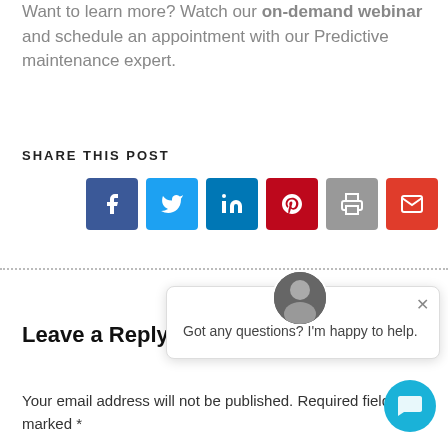Want to learn more? Watch our on-demand webinar and schedule an appointment with our Predictive maintenance expert.
SHARE THIS POST
[Figure (other): Row of six social share buttons: Facebook, Twitter, LinkedIn, Pinterest, Print, Email]
[Figure (other): Chat widget popup with avatar photo, close button, and text: 'Got any questions? I'm happy to help.']
Leave a Reply
Your email address will not be published. Required fields are marked *